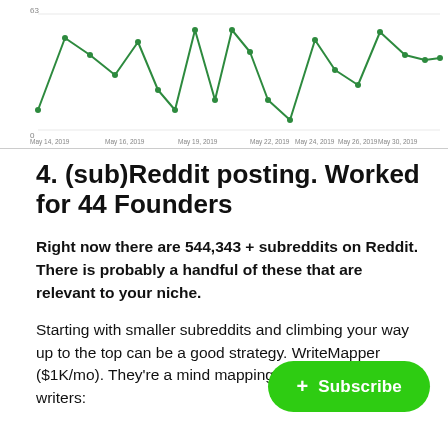[Figure (continuous-plot): A line chart showing a fluctuating green line over a date range from May 14, 2019 to Jun 2, 2019. The line has multiple peaks and troughs, with a notable spike around May 22 and general oscillation throughout. Y-axis shows values with a label near the top (appears to be around 63). X-axis shows date labels.]
4. (sub)Reddit posting. Worked for 44 Founders
Right now there are 544,343 + subreddits on Reddit. There is probably a handful of these that are relevant to your niche.
Starting with smaller subreddits and climbing your way up to the top can be a good strategy. WriteMapper ($1K/mo). They're a mind mapping desktop app for writers: